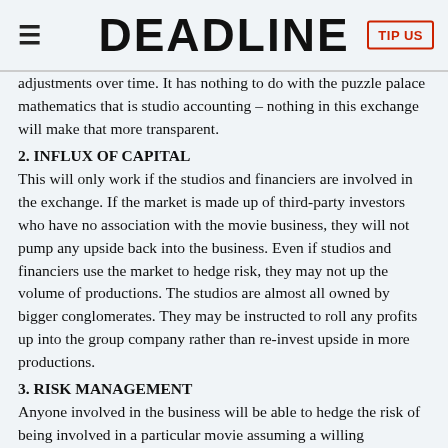DEADLINE
adjustments over time. It has nothing to do with the puzzle palace mathematics that is studio accounting – nothing in this exchange will make that more transparent.
2. INFLUX OF CAPITAL
This will only work if the studios and financiers are involved in the exchange. If the market is made up of third-party investors who have no association with the movie business, they will not pump any upside back into the business. Even if studios and financiers use the market to hedge risk, they may not up the volume of productions. The studios are almost all owned by bigger conglomerates. They may be instructed to roll any profits up into the group company rather than re-invest upside in more productions.
3. RISK MANAGEMENT
Anyone involved in the business will be able to hedge the risk of being involved in a particular movie assuming a willing counterparty exists.